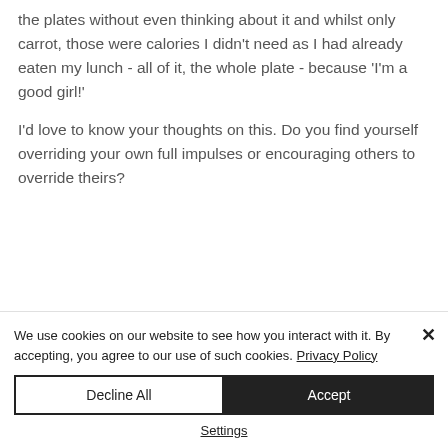the plates without even thinking about it and whilst only carrot, those were calories I didn't need as I had already eaten my lunch - all of it, the whole plate - because 'I'm a good girl!'

I'd love to know your thoughts on this. Do you find yourself overriding your own full impulses or encouraging others to override theirs?
We use cookies on our website to see how you interact with it. By accepting, you agree to our use of such cookies. Privacy Policy
Decline All
Accept
Settings